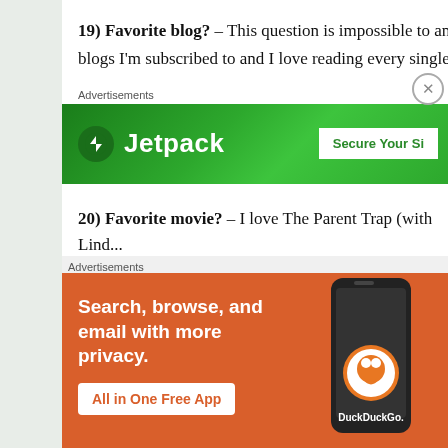19) Favorite blog? – This question is impossible to answer. There are so many blogs I'm subscribed to and I love reading every single one.
[Figure (screenshot): Jetpack advertisement banner with green background, Jetpack logo and 'Secure Your Si...' button]
20) Favorite movie? – I love The Parent Trap (with Lind...) Perks Of Being A Wallflower.
21) Favorite TV shows? – I have quite a few now that I t... The Vampire Diaries, Glee, How I Met Your Mother, Onc...
[Figure (screenshot): DuckDuckGo advertisement: 'Search, browse, and email with more privacy. All in One Free App' on orange background with phone graphic]